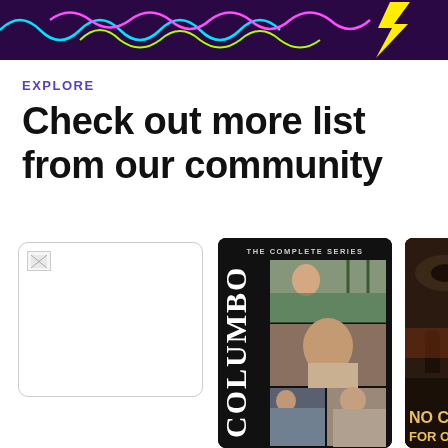[Figure (illustration): Dark purple banner with colorful squiggly lines and lightning bolt graphic]
EXPLORE
Check out more list from our community
[Figure (photo): White card with broken image icon placeholder]
[Figure (photo): Columbo: The Complete Series DVD cover with multiple photos of Peter Falk]
[Figure (photo): Partial view of No Country for Old Men movie cover]